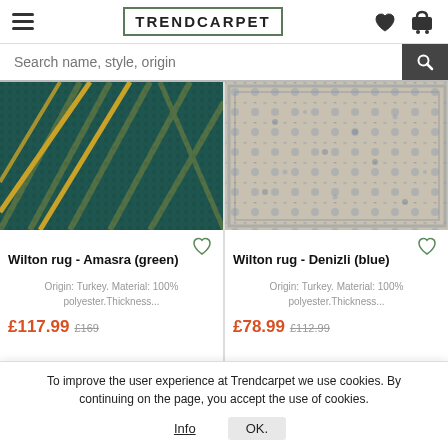TRENDCARPET
Search name, style, origin
[Figure (photo): Wilton rug Amasra green - dark teal geometric art deco pattern with gold lines]
[Figure (photo): Wilton rug Denizli blue - vintage style beige and blue floral pattern]
Wilton rug - Amasra (green)
Wilton rug - Denizli (blue)
Origin: Turkey. Material: 100% polyester.Thickness...
Origin: Turkey. Material: 100% polyester.Thickness...
£117.99  £169
£78.99  £112.99
To improve the user experience at Trendcarpet we use cookies. By continuing on the page, you accept the use of cookies.